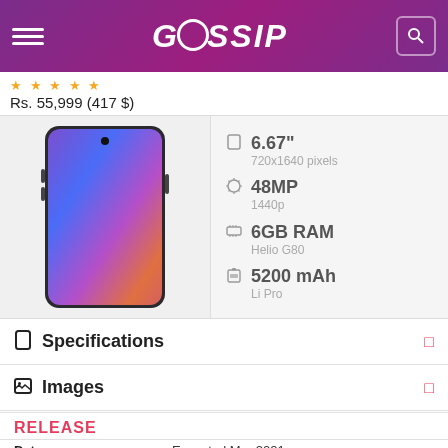GOSSIP
★ ★ ★ ★ ★
Rs. 55,999 (417 $)
[Figure (photo): Smartphone with colorful gradient display showing purple, blue, and pink colors, dark frame, punch-hole front camera]
6.67"
720x1640 pixels
48MP
1440p
6GB RAM
Helio G80
5200 mAh
Li Pro
Specifications
Images
RELEASE
| Date |  |
| --- | --- |
| Date | Expected Mar 2021 |